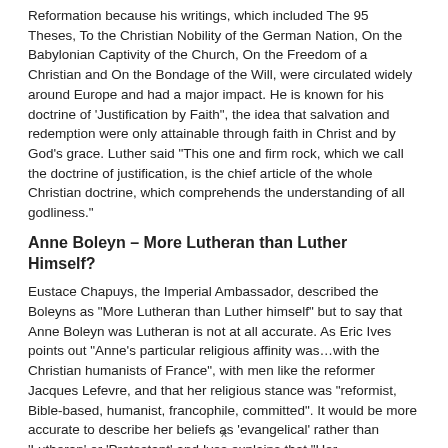Reformation because his writings, which included The 95 Theses, To the Christian Nobility of the German Nation, On the Babylonian Captivity of the Church, On the Freedom of a Christian and On the Bondage of the Will, were circulated widely around Europe and had a major impact. He is known for his doctrine of 'Justification by Faith", the idea that salvation and redemption were only attainable through faith in Christ and by God's grace. Luther said "This one and firm rock, which we call the doctrine of justification, is the chief article of the whole Christian doctrine, which comprehends the understanding of all godliness."
Anne Boleyn – More Lutheran than Luther Himself?
Eustace Chapuys, the Imperial Ambassador, described the Boleyns as "More Lutheran than Luther himself" but to say that Anne Boleyn was Lutheran is not at all accurate. As Eric Ives points out "Anne's particular religious affinity was…with the Christian humanists of France", with men like the reformer Jacques Lefevre, and that her religious stance was "reformist, Bible-based, humanist, francophile, committed". It would be more accurate to describe her beliefs as 'evangelical' rather than 'Lutheran' or 'Protestant' and Ives explains that "Her
x